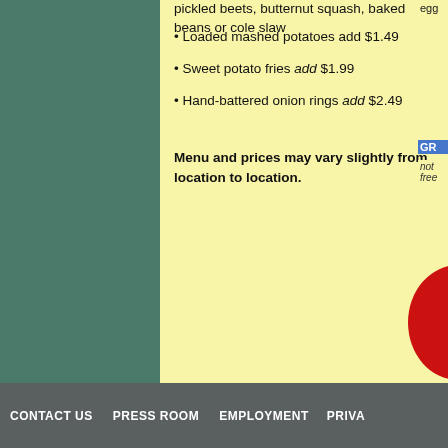pickled beets, butternut squash, baked beans or cole slaw
Loaded mashed potatoes add $1.49
Sweet potato fries add $1.99
Hand-battered onion rings add $2.49
Menu and prices may vary slightly from location to location.
CONTACT US   PRESS ROOM   EMPLOYMENT   PRIVA